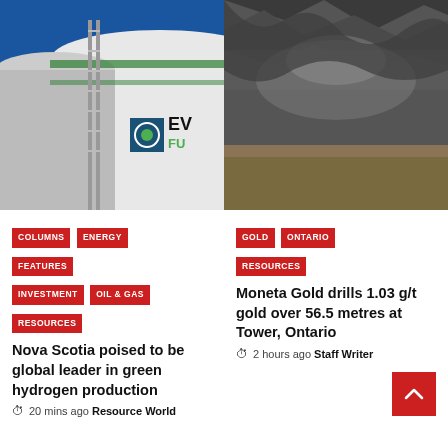[Figure (photo): Industrial fuel storage tanks with green and white Everi Fuels branding, blue sky background]
[Figure (photo): Dark rocky mining tunnel interior with grey rock ceiling]
COLUMNS
ENERGY
FEATURES
INVESTMENT
OIL & GAS
RESOURCES
Nova Scotia poised to be global leader in green hydrogen production
20 mins ago  Resource World
GOLD
ONTARIO
RESOURCES
Moneta Gold drills 1.03 g/t gold over 56.5 metres at Tower, Ontario
2 hours ago  Staff Writer